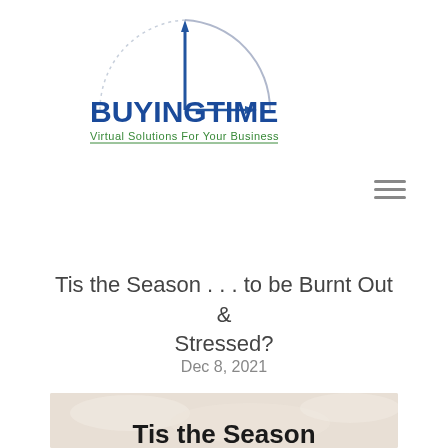[Figure (logo): BuyingTime logo with clock graphic. Text reads 'BuyingTime' in blue bold letters with 'Virtual Solutions For Your Business' in green below.]
[Figure (other): Hamburger menu icon (three horizontal lines) positioned in the upper right area.]
Tis the Season . . . to be Burnt Out & Stressed?
Dec 8, 2021
[Figure (photo): Hero image with soft beige/cream background showing 'Tis the Season' text in bold black at the bottom.]